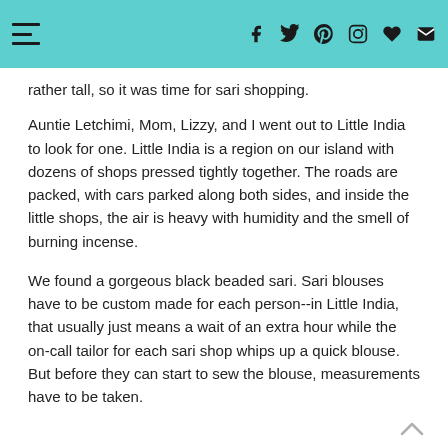Navigation and social icons header bar
rather tall, so it was time for sari shopping.
Auntie Letchimi, Mom, Lizzy, and I went out to Little India to look for one. Little India is a region on our island with dozens of shops pressed tightly together. The roads are packed, with cars parked along both sides, and inside the little shops, the air is heavy with humidity and the smell of burning incense.
We found a gorgeous black beaded sari. Sari blouses have to be custom made for each person--in Little India, that usually just means a wait of an extra hour while the on-call tailor for each sari shop whips up a quick blouse. But before they can start to sew the blouse, measurements have to be taken.